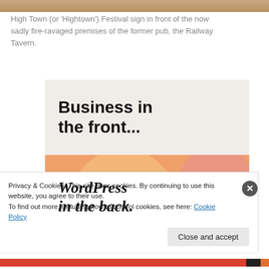[Figure (photo): Partial view of a wooden surface or interior, cropped at top of page]
High Town (or ‘Hightown’) Festival sign in front of the now sadly fire-ravaged premises of the former pub, the Railway Tavern.
[Figure (infographic): Advertisement with two sections: top light beige section with bold black text 'Business in the front...' and bottom orange section with decorative bubbles and italic serif text 'WordPress in the back.']
Privacy & Cookies: This site uses cookies. By continuing to use this website, you agree to their use.
To find out more, including how to control cookies, see here: Cookie Policy
Close and accept